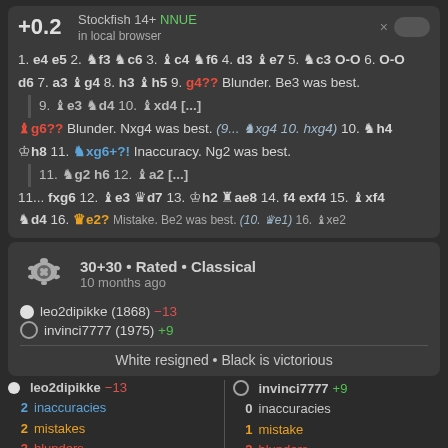+0.2 Stockfish 14+ NNUE in local browser
1. e4 e5 2. Nf3 Nc6 3. Bc4 Nf6 4. d3 Be7 5. Nc3 O-O 6. O-O d6 7. a3 Bg4 8. h3 Bh5 9. g4?? Blunder. Be3 was best.
9. Be3 Nd4 10. Bxd4 [...]
Bg6?? Blunder. Nxg4 was best. (9... Nxg4 10. hxg4) 10. Nh4 Kh8 11. Nxg6+?! Inaccuracy. Ng2 was best.
11. Ng2 h6 12. Ba2 [...]
11... fxg6 12. Be3 Qd7 13. Kh2 Rae8 14. f4 exf4 15. Bxf4 Nd4 16. Qe2? Mistake. Be2 was best. (10. Qe1) 16. Bxe2
30+30 • Rated • Classical
10 months ago
leo2dipikke (1868) -13
invinci7777 (1975) +9
White resigned • Black is victorious
leo2dipikke -13
2 inaccuracies
2 mistakes
3 blunders
45 Average centipawn loss
invinci7777 +9
0 inaccuracies
1 mistake
2 blunders
24 Average centipawn loss